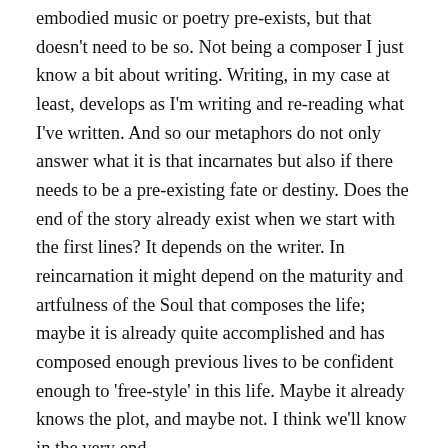embodied music or poetry pre-exists, but that doesn't need to be so. Not being a composer I just know a bit about writing. Writing, in my case at least, develops as I'm writing and re-reading what I've written. And so our metaphors do not only answer what it is that incarnates but also if there needs to be a pre-existing fate or destiny. Does the end of the story already exist when we start with the first lines? It depends on the writer. In reincarnation it might depend on the maturity and artfulness of the Soul that composes the life; maybe it is already quite accomplished and has composed enough previous lives to be confident enough to 'free-style' in this life. Maybe it already knows the plot, and maybe not. I think we'll know in the very end...
So does the Soul incarnate? Well, I'd say as much as an artist incarnates in a piece of art. While s/he's in the act of creation, s/he's absorbed by creating; maybe once in a